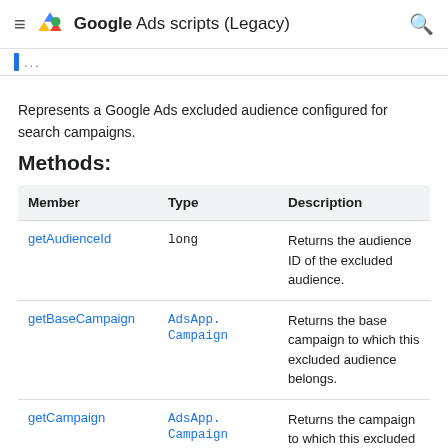Google Ads scripts (Legacy)
Represents a Google Ads excluded audience configured for search campaigns.
Methods:
| Member | Type | Description |
| --- | --- | --- |
| getAudienceId | long | Returns the audience ID of the excluded audience. |
| getBaseCampaign | AdsApp.Campaign | Returns the base campaign to which this excluded audience belongs. |
| getCampaign | AdsApp.Campaign | Returns the campaign to which this excluded audience belongs or null if it does not belong to a search or display campaign. |